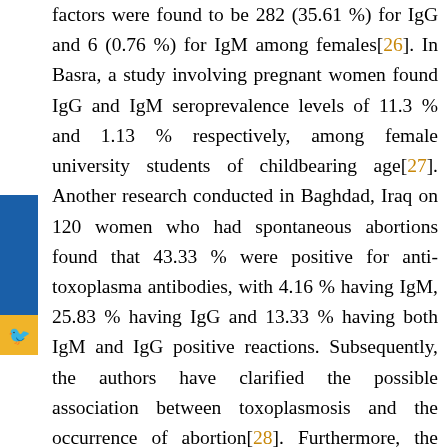factors were found to be 282 (35.61 %) for IgG and 6 (0.76 %) for IgM among females[26]. In Basra, a study involving pregnant women found IgG and IgM seroprevalence levels of 11.3 % and 1.13 % respectively, among female university students of childbearing age[27]. Another research conducted in Baghdad, Iraq on 120 women who had spontaneous abortions found that 43.33 % were positive for anti-toxoplasma antibodies, with 4.16 % having IgM, 25.83 % having IgG and 13.33 % having both IgM and IgG positive reactions. Subsequently, the authors have clarified the possible association between toxoplasmosis and the occurrence of abortion[28]. Furthermore, the infection rate was also recorded in some neighboring countries, such as